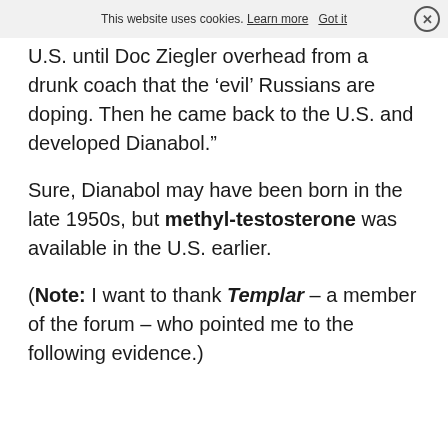This website uses cookies. Learn more   Got it
U.S. until Doc Ziegler overhead from a drunk coach that the ‘evil’ Russians are doping. Then he came back to the U.S. and developed Dianabol.”
Sure, Dianabol may have been born in the late 1950s, but methyl-testosterone was available in the U.S. earlier.
(Note: I want to thank Templar – a member of the forum – who pointed me to the following evidence.)